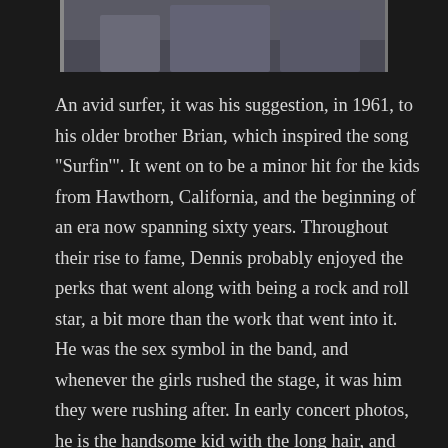[Figure (photo): Partial photograph of a person, cropped at torso level, dark background, wearing jeans and dark jacket]
An avid surfer, it was his suggestion, in 1961, to his older brother Brian, which inspired the song "Surfin'". It went on to be a minor hit for the kids from Hawthorn, California, and the beginning of an era now spanning sixty years. Throughout their rise to fame, Dennis probably enjoyed the perks that went along with being a rock and roll star, a bit more than the work that went into it. He was the sex symbol in the band, and whenever the girls rushed the stage, it was him they were rushing after. In early concert photos, he is the handsome kid with the long hair, and dimpled chin, smiling from behind his drum kit. He seemed carefree, and glad to be along for the ride. Little by little, as things changed for the band, things changed for Dennis, and as with the band, not always for